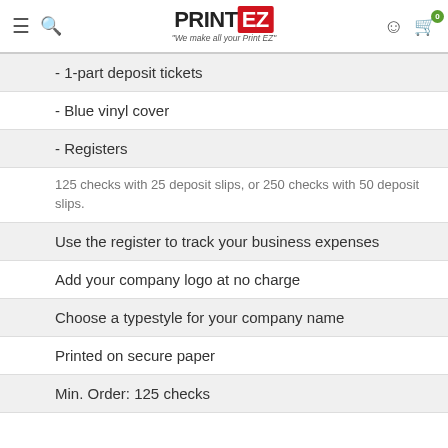PRINT EZ — We make all your Print EZ
- 1-part deposit tickets
- Blue vinyl cover
- Registers
125 checks with 25 deposit slips, or 250 checks with 50 deposit slips.
Use the register to track your business expenses
Add your company logo at no charge
Choose a typestyle for your company name
Printed on secure paper
Min. Order: 125 checks